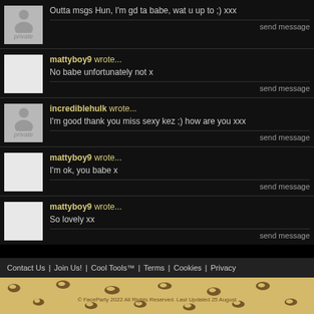Outta msgs Hun, I'm gd ta babe, wat u up to ;) xxx
send message
mattyboy9 wrote... No babe unfortunately not x
send message
incrediblehulk wrote... I'm good thank you miss sexy kez ;) how are you xxx
send message
mattyboy9 wrote... I'm ok, you babe x
send message
mattyboy9 wrote... So lovely xx
send message
Contact Us | Join Us! | Cool Tools™ | Terms | Cookies | Privacy
© FaceParty 2022 All Rights Reserved. Last Updated 25 August